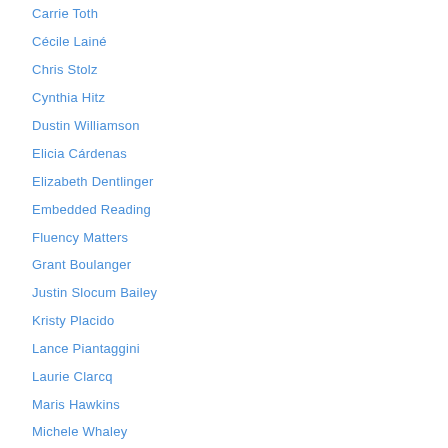Carrie Toth
Cécile Lainé
Chris Stolz
Cynthia Hitz
Dustin Williamson
Elicia Cárdenas
Elizabeth Dentlinger
Embedded Reading
Fluency Matters
Grant Boulanger
Justin Slocum Bailey
Kristy Placido
Lance Piantaggini
Laurie Clarcq
Maris Hawkins
Michele Whaley